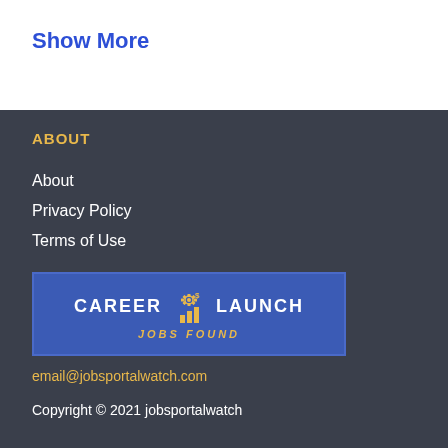Show More
ABOUT
About
Privacy Policy
Terms of Use
[Figure (logo): Career Launch Jobs Found logo — blue rectangle with white bold text 'CAREER LAUNCH' and yellow italic text 'JOBS FOUND', with a gear/chart icon in the center]
email@jobsportalwatch.com
Copyright © 2021 jobsportalwatch